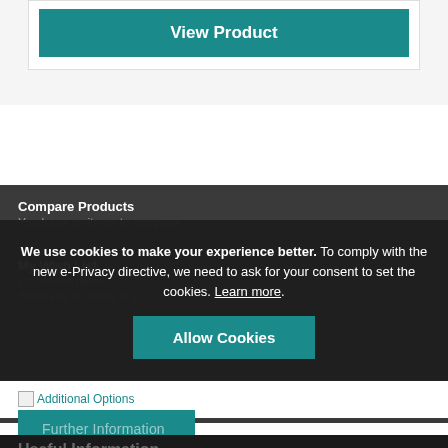View Product
Compare Products
You have no items to compare
We use cookies to make your experience better. To comply with the new e-Privacy directive, we need to ask for your consent to set the cookies. Learn more.
Allow Cookies
My Wish List
Last Added Items
You have no items in your wish list
Additional Options
Further Information
Useful Information